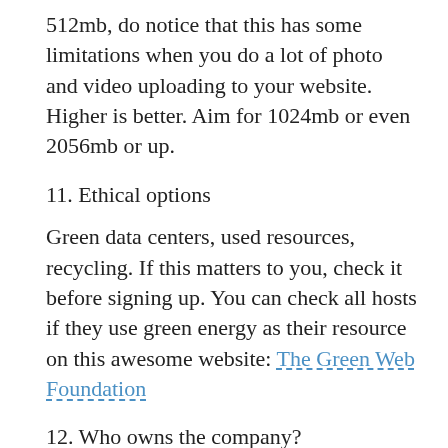512mb, do notice that this has some limitations when you do a lot of photo and video uploading to your website. Higher is better. Aim for 1024mb or even 2056mb or up.
11. Ethical options
Green data centers, used resources, recycling. If this matters to you, check it before signing up. You can check all hosts if they use green energy as their resource on this awesome website: The Green Web Foundation
12. Who owns the company?
You'll be surprised how many web hosting companies are owned by one overlapping